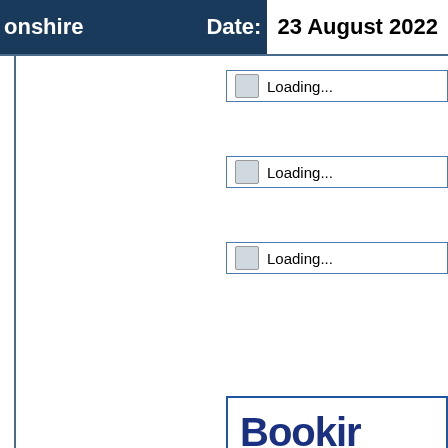onshire  Date: 23 August 2022
[Figure (screenshot): Web interface showing three loading progress bars on the right side and a partially visible Booking button/widget below them. The left portion shows a white content area with a vertical border line. The page appears to be a booking or travel website loading state.]